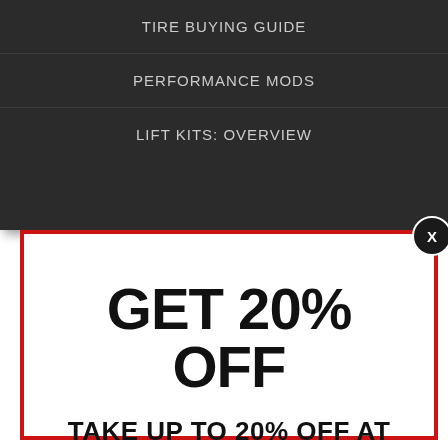TIRE BUYING GUIDE
PERFORMANCE MODS
LIFT KITS: OVERVIEW
GET 20% OFF
TAKE UP TO 20% OFF AT THE 4RUNNER STORE
Get access to new 4Runner gear, free stickers, product reviews, installs, and much more!